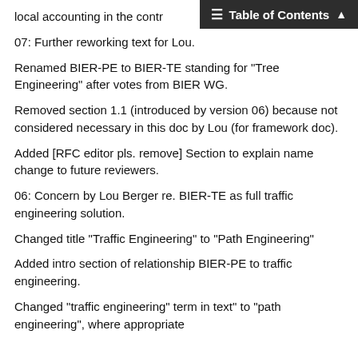local accounting in the contr
Table of Contents
07: Further reworking text for Lou.
Renamed BIER-PE to BIER-TE standing for "Tree Engineering" after votes from BIER WG.
Removed section 1.1 (introduced by version 06) because not considered necessary in this doc by Lou (for framework doc).
Added [RFC editor pls. remove] Section to explain name change to future reviewers.
06: Concern by Lou Berger re. BIER-TE as full traffic engineering solution.
Changed title "Traffic Engineering" to "Path Engineering"
Added intro section of relationship BIER-PE to traffic engineering.
Changed "traffic engineering" term in text" to "path engineering", where appropriate